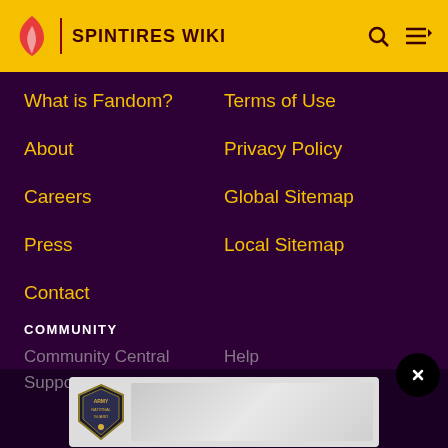SPINTIRES WIKI
What is Fandom?
Terms of Use
About
Privacy Policy
Careers
Global Sitemap
Press
Local Sitemap
Contact
COMMUNITY
Community Central
Help
Support
[Figure (illustration): Army National Guard advertisement banner with badge logo]
ADVERTISE